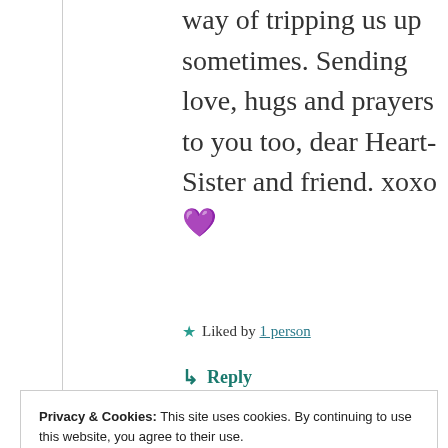way of tripping us up sometimes. Sending love, hugs and prayers to you too, dear Heart-Sister and friend. xoxo 💜
★ Liked by 1 person
↳ Reply
Privacy & Cookies: This site uses cookies. By continuing to use this website, you agree to their use.
To find out more, including how to control cookies, see here: Our Cookie Policy
Close and accept
e